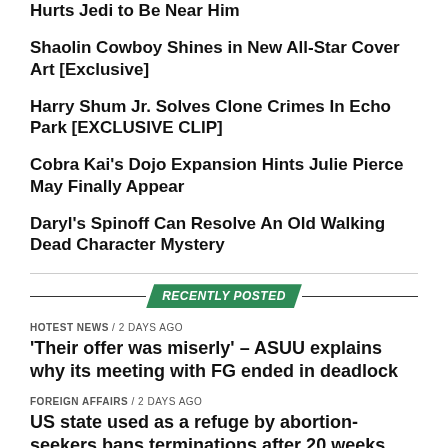Hurts Jedi to Be Near Him
Shaolin Cowboy Shines in New All-Star Cover Art [Exclusive]
Harry Shum Jr. Solves Clone Crimes In Echo Park [EXCLUSIVE CLIP]
Cobra Kai's Dojo Expansion Hints Julie Pierce May Finally Appear
Daryl's Spinoff Can Resolve An Old Walking Dead Character Mystery
RECENTLY POSTED
HOTEST NEWS / 2 days ago
'Their offer was miserly' – ASUU explains why its meeting with FG ended in deadlock
FOREIGN AFFAIRS / 2 days ago
US state used as a refuge by abortion-seekers bans terminations after 20 weeks